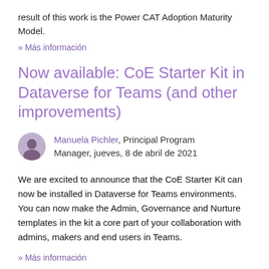result of this work is the Power CAT Adoption Maturity Model.
» Más información
Now available: CoE Starter Kit in Dataverse for Teams (and other improvements)
Manuela Pichler, Principal Program Manager, jueves, 8 de abril de 2021
We are excited to announce that the CoE Starter Kit can now be installed in Dataverse for Teams environments. You can now make the Admin, Governance and Nurture templates in the kit a core part of your collaboration with admins, makers and end users in Teams.
» Más información
Use the Innovation Backlog to manage